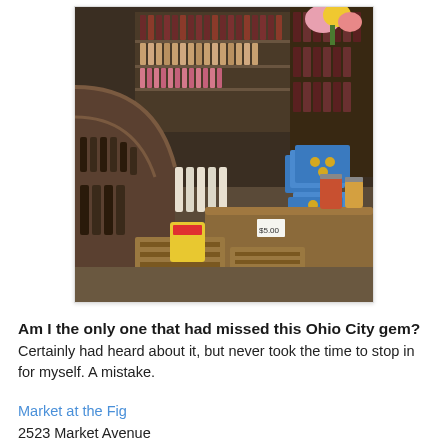[Figure (photo): Interior of a specialty food and wine shop called Market at the Fig. Shelves lined with wine bottles, blue gift boxes, jars of preserves and sauces on wooden crates and tables, flowers visible in the background.]
Am I the only one that had missed this Ohio City gem? Certainly had heard about it, but never took the time to stop in for myself. A mistake.
Market at the Fig
2523 Market Avenue
Cleveland, OH 44113
(216) 241-4243